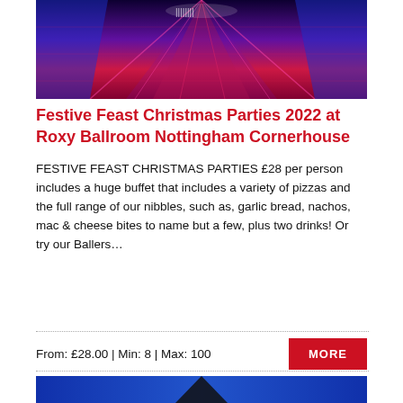[Figure (photo): Bowling alley lanes with neon blue and red lighting, viewed from above/perspective]
Festive Feast Christmas Parties 2022 at Roxy Ballroom Nottingham Cornerhouse
FESTIVE FEAST CHRISTMAS PARTIES £28 per person includes a huge buffet that includes a variety of pizzas and the full range of our nibbles, such as, garlic bread, nachos, mac & cheese bites to name but a few, plus two drinks! Or try our Ballers…
From: £28.00 | Min: 8 | Max: 100
ADD TO ENQUIRY LIST | VIEW ENQUIRY LIST
[Figure (photo): Bottom portion of another bowling alley image with blue tones and dark triangle shape]